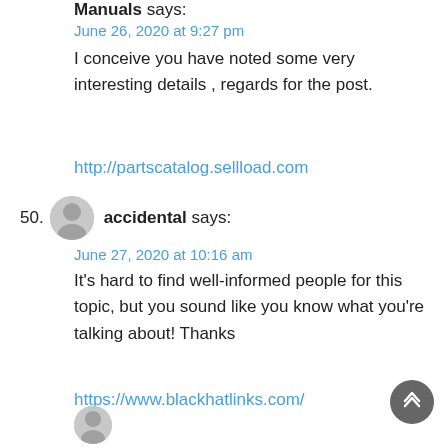Manuals says:
June 26, 2020 at 9:27 pm
I conceive you have noted some very interesting details , regards for the post.
http://partscatalog.sellload.com
50. accidental says:
June 27, 2020 at 10:16 am
It's hard to find well-informed people for this topic, but you sound like you know what you're talking about! Thanks
https://www.blackhatlinks.com/